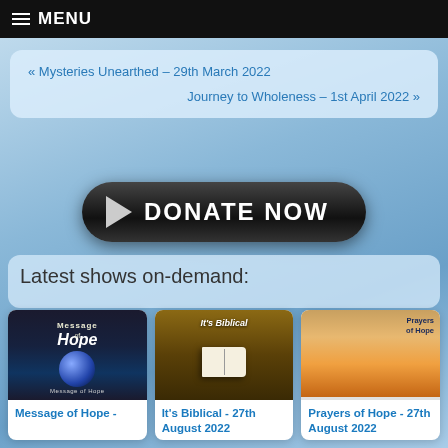MENU
« Mysteries Unearthed – 29th March 2022
Journey to Wholeness – 1st April 2022 »
[Figure (other): Black rounded button with play arrow and text DONATE NOW]
Latest shows on-demand:
[Figure (other): Message of Hope show thumbnail - dark blue background with globe and text Message of Hope]
Message of Hope -
[Figure (other): It's Biblical show thumbnail - brown background with open bible and text It's Biblical]
It's Biblical - 27th August 2022
[Figure (other): Prayers of Hope show thumbnail - sunset background with silhouette praying]
Prayers of Hope - 27th August 2022